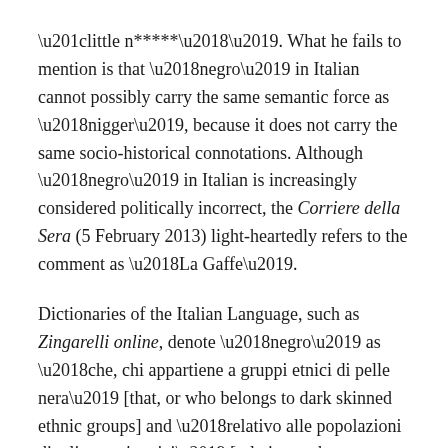“little n*****‘’. What he fails to mention is that ‘negro’ in Italian cannot possibly carry the same semantic force as ‘nigger’, because it does not carry the same socio-historical connotations. Although ‘negro’ in Italian is increasingly considered politically incorrect, the Corriere della Sera (5 February 2013) light-heartedly refers to the comment as ‘La Gaffe’.
Dictionaries of the Italian Language, such as Zingarelli online, denote ‘negro’ as ‘che, chi appartiene a gruppi etnici di pelle nera’ [that, or who belongs to dark skinned ethnic groups] and ‘relativo alle popolazioni di tali gruppi etnici’ [relative to the populations of such ethnic groups], but, for example, add a further connotation: